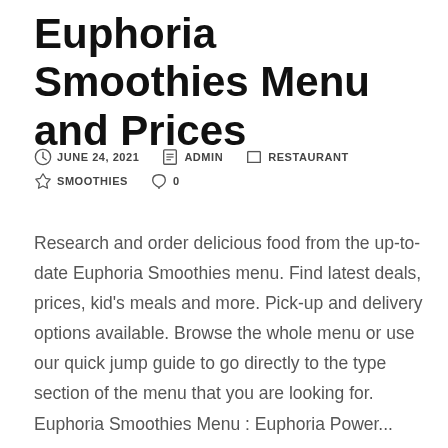Euphoria Smoothies Menu and Prices
JUNE 24, 2021   ADMIN   RESTAURANT   SMOOTHIES   0
Research and order delicious food from the up-to-date Euphoria Smoothies menu. Find latest deals, prices, kid's meals and more. Pick-up and delivery options available. Browse the whole menu or use our quick jump guide to go directly to the type section of the menu that you are looking for. Euphoria Smoothies Menu : Euphoria Power...